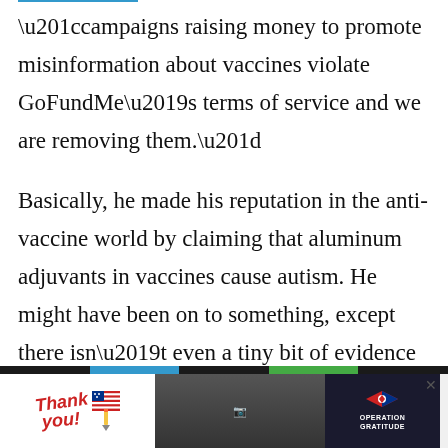“campaigns raising money to promote misinformation about vaccines violate GoFundMe’s terms of service and we are removing them.”
Basically, he made his reputation in the anti-vaccine world by claiming that aluminum adjuvants in vaccines cause autism. He might have been on to something, except there isn’t even a tiny bit of evidence that shows that
[Figure (screenshot): Advertisement banner at bottom: 'Thank you!' with US flag and pencil graphic on left, military photo in center, Operation Gratitude logo on right with close button]